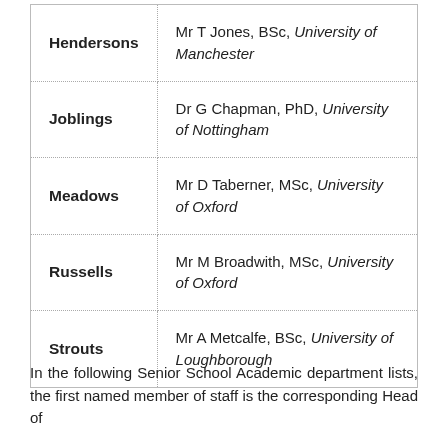| Hendersons | Mr T Jones, BSc, University of Manchester |
| Joblings | Dr G Chapman, PhD, University of Nottingham |
| Meadows | Mr D Taberner, MSc, University of Oxford |
| Russells | Mr M Broadwith, MSc, University of Oxford |
| Strouts | Mr A Metcalfe, BSc, University of Loughborough |
In the following Senior School Academic department lists, the first named member of staff is the corresponding Head of...